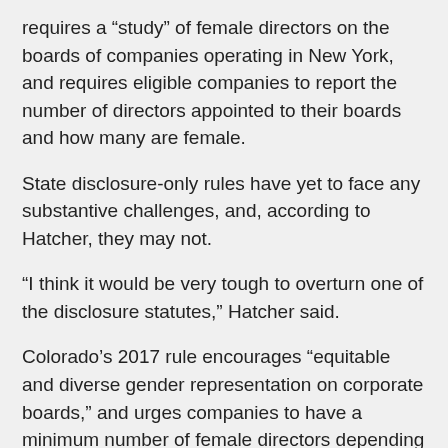requires a “study” of female directors on the boards of companies operating in New York, and requires eligible companies to report the number of directors appointed to their boards and how many are female.
State disclosure-only rules have yet to face any substantive challenges, and, according to Hatcher, they may not.
“I think it would be very tough to overturn one of the disclosure statutes,” Hatcher said.
Colorado’s 2017 rule encourages “equitable and diverse gender representation on corporate boards,” and urges companies to have a minimum number of female directors depending on the size of the board. But the law is non-binding and doesn’t impose disclosure requirements. A similar bill is pending in Ohio.
state, which requires certain companies to